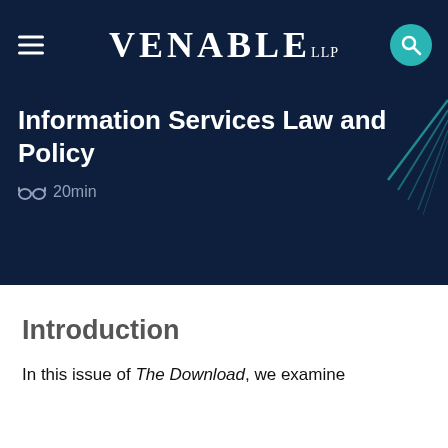VENABLE LLP
Information Services Law and Policy
20min
Introduction
In this issue of The Download, we examine